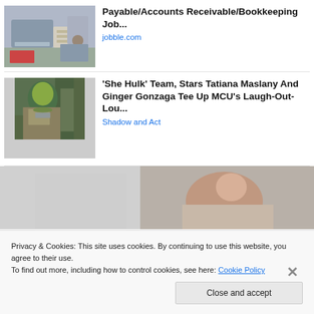[Figure (photo): Photo thumbnail of person working at desk with laptop and calculator, financial/accounting context]
Payable/Accounts Receivable/Bookkeeping Job...
jobble.com
[Figure (photo): Photo thumbnail of She-Hulk (green character) outdoors]
'She Hulk' Team, Stars Tatiana Maslany And Ginger Gonzaga Tee Up MCU's Laugh-Out-Lou...
Shadow and Act
[Figure (photo): Partial photo of person, bottom of page, partially obscured by cookie banner]
Privacy & Cookies: This site uses cookies. By continuing to use this website, you agree to their use.
To find out more, including how to control cookies, see here: Cookie Policy
Close and accept